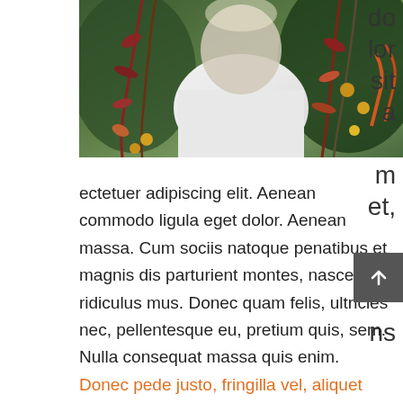[Figure (photo): A person in a white shirt surrounded by colorful hanging floral/botanical decorations with red, orange, and green tones]
dolor sit a m et, co ns
ectetuer adipiscing elit. Aenean commodo ligula eget dolor. Aenean massa. Cum sociis natoque penatibus et magnis dis parturient montes, nascetur ridiculus mus. Donec quam felis, ultricies nec, pellentesque eu, pretium quis, sem. Nulla consequat massa quis enim. Donec pede justo, fringilla vel, aliquet nec, vulputate eget, arcu. In enim justo, rhoncus ut, imperdiet a, venenatis